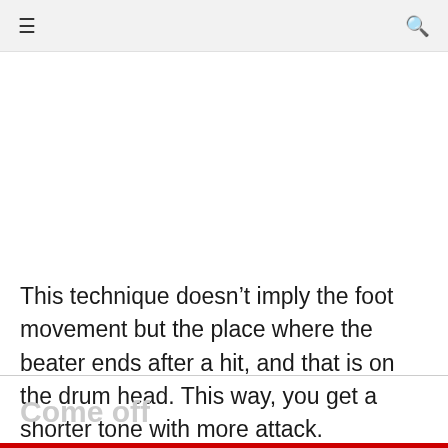≡  🔍
This technique doesn't imply the foot movement but the place where the beater ends after a hit, and that is on the drum head. This way, you get a shorter tone with more attack.
Come off